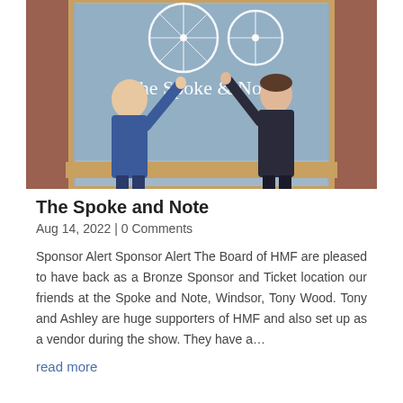[Figure (photo): Two people posing and pointing upward in front of a store window that reads 'The Spoke & Note' with bicycle wheel graphics. One person on the left is wearing a blue jacket and has a beard; the person on the right is wearing a dark hoodie.]
The Spoke and Note
Aug 14, 2022 | 0 Comments
Sponsor Alert Sponsor Alert The Board of HMF are pleased to have back as a Bronze Sponsor and Ticket location our friends at the Spoke and Note, Windsor, Tony Wood. Tony and Ashley are huge supporters of HMF and also set up as a vendor during the show. They have a…
read more